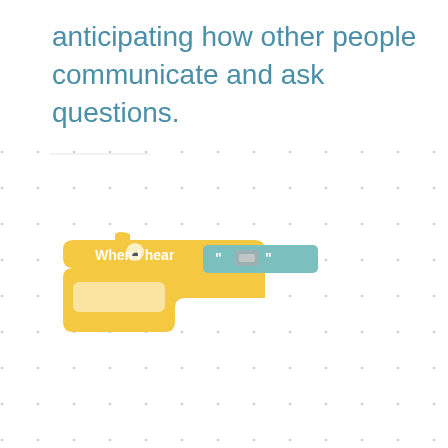anticipating how other people communicate and ask questions.
[Figure (screenshot): A Scratch-like programming block in yellow reading 'When I hear' with a teal speech/quote input block showing quotation marks and a small icon, set against a dotted grid background.]